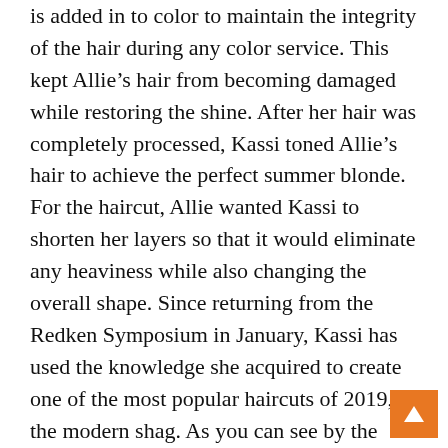is added in to color to maintain the integrity of the hair during any color service. This kept Allie's hair from becoming damaged while restoring the shine. After her hair was completely processed, Kassi toned Allie's hair to achieve the perfect summer blonde. For the haircut, Allie wanted Kassi to shorten her layers so that it would eliminate any heaviness while also changing the overall shape. Since returning from the Redken Symposium in January, Kassi has used the knowledge she acquired to create one of the most popular haircuts of 2019, the modern shag. As you can see by the “after” photos, Allie has two very different shapes which each style. This is what makes her new cut so versatile. Because Allie’s hair is naturally very curly, Kassi wanted to show off what the color and haircut looked like both straight and natural. To style it smooth, Kassi used the NEW Redken Frizz Dismiss line. To achieve the natural curl, Kassi styled it using Redken’s Curvaceous line and a diffuser.